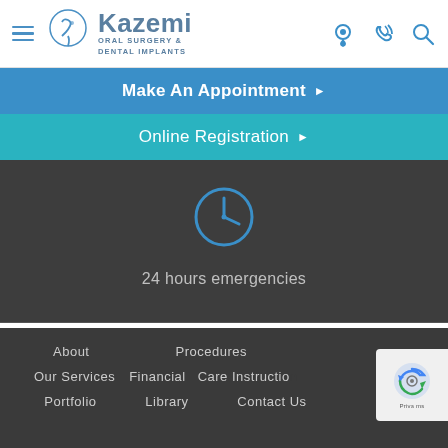[Figure (logo): Kazemi Oral Surgery & Dental Implants logo with face silhouette icon]
Make An Appointment ▶
Online Registration ▶
[Figure (illustration): Clock icon - 24 hours emergencies]
24 hours emergencies
About
Procedures
Our Services
Financial
Care Instructions
Portfolio
Library
Contact Us
[Figure (logo): Google reCAPTCHA badge with rotating arrows logo]